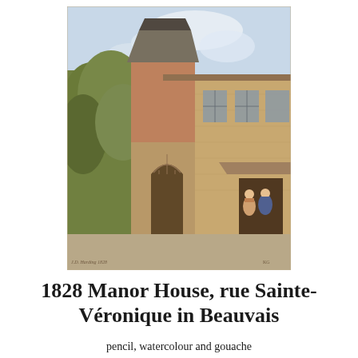[Figure (illustration): A watercolour and gouache painting from 1828 depicting the Manor House on rue Sainte-Véronique in Beauvais. The image shows an old stone building with Gothic architectural details including an arched doorway, a tower with a pitched roof, and multi-paned windows. Trees are visible to the left. Two figures in period dress stand near the entrance on the right side.]
1828 Manor House, rue Sainte-Véronique in Beauvais
pencil, watercolour and gouache